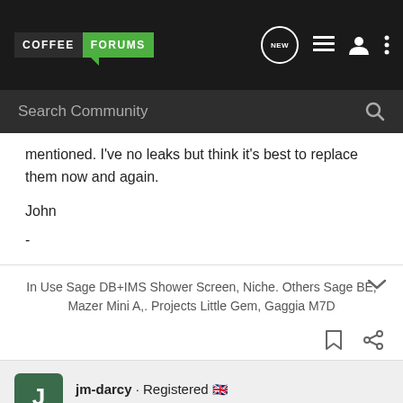COFFEE FORUMS
mentioned. I've no leaks but think it's best to replace them now and again.
John
-
In Use Sage DB+IMS Shower Screen, Niche. Others Sage BE, Mazer Mini A,. Projects Little Gem, Gaggia M7D
jm-darcy · Registered 🇬🇧
Joined Feb 4, 2019 · 23 Posts